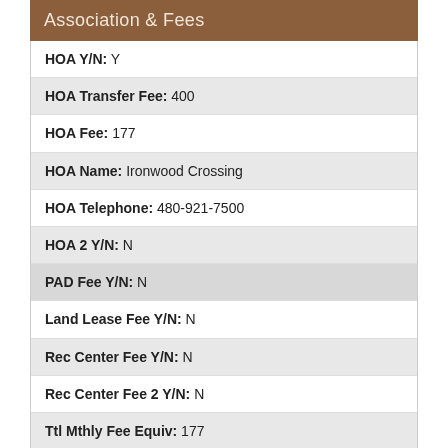Association & Fees
| HOA Y/N: Y |
| HOA Transfer Fee: 400 |
| HOA Fee: 177 |
| HOA Name: Ironwood Crossing |
| HOA Telephone: 480-921-7500 |
| HOA 2 Y/N: N |
| PAD Fee Y/N: N |
| Land Lease Fee Y/N: N |
| Rec Center Fee Y/N: N |
| Rec Center Fee 2 Y/N: N |
| Ttl Mthly Fee Equiv: 177 |
Basement